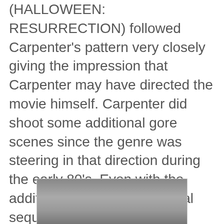(HALLOWEEN: RESURRECTION) followed Carpenter's pattern very closely giving the impression that Carpenter may have directed the movie himself. Carpenter did shoot some additional gore scenes since the genre was steering in that direction during the early 80's. Even with the addition of gore to the original sequel, the overall tone is an eerily depressing one. A young trick r treater is killed in a freak car accident while another falls victim to an apple sheathing a razor blade. The lighting in the hospital is very dim and the long hallways are frequently empty. Carpenter's music here adds to the dread.
[Figure (photo): Partial photo of a person, cropped at bottom of page, showing head/hair area in grayscale]